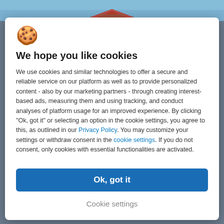[Figure (photo): Partial photo of a house with red tile roof and blue sky visible at the top of the page behind the modal]
[Figure (illustration): Cookie emoji icon (golden cookie with chocolate chips)]
We hope you like cookies
We use cookies and similar technologies to offer a secure and reliable service on our platform as well as to provide personalized content - also by our marketing partners - through creating interest-based ads, measuring them and using tracking, and conduct analyses of platform usage for an improved experience. By clicking "Ok, got it" or selecting an option in the cookie settings, you agree to this, as outlined in our Privacy Policy. You may customize your settings or withdraw consent in the cookie settings. If you do not consent, only cookies with essential functionalities are activated.
Ok, got it
Cookie settings